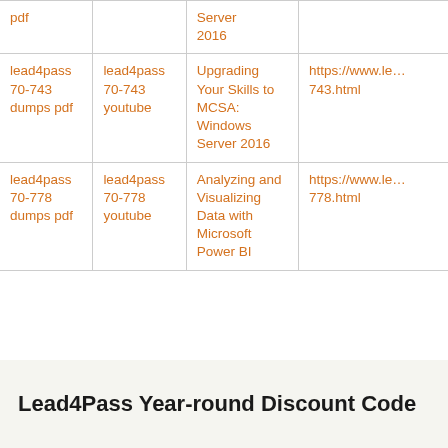| pdf |  | Server
2016 |  |
| lead4pass 70-743 dumps pdf | lead4pass 70-743 youtube | Upgrading Your Skills to MCSA: Windows Server 2016 | https://www.le… 743.html |
| lead4pass 70-778 dumps pdf | lead4pass 70-778 youtube | Analyzing and Visualizing Data with Microsoft Power BI | https://www.le… 778.html |
Lead4Pass Year-round Discount Code